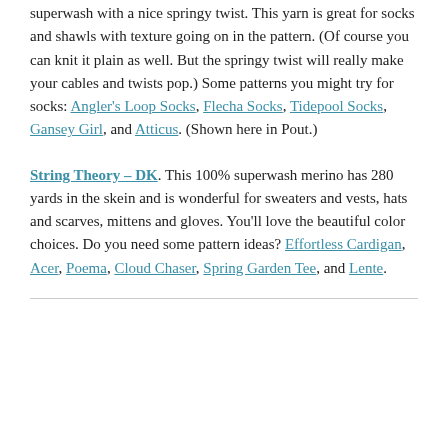superwash with a nice springy twist. This yarn is great for socks and shawls with texture going on in the pattern. (Of course you can knit it plain as well. But the springy twist will really make your cables and twists pop.) Some patterns you might try for socks: Angler's Loop Socks, Flecha Socks, Tidepool Socks, Gansey Girl, and Atticus. (Shown here in Pout.)
String Theory – DK. This 100% superwash merino has 280 yards in the skein and is wonderful for sweaters and vests, hats and scarves, mittens and gloves. You'll love the beautiful color choices. Do you need some pattern ideas? Effortless Cardigan, Acer, Poema, Cloud Chaser, Spring Garden Tee, and Lente.